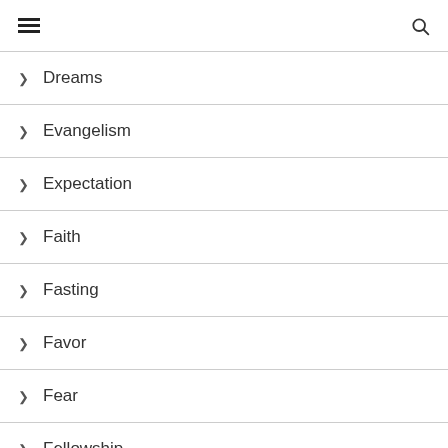Dreams
Evangelism
Expectation
Faith
Fasting
Favor
Fear
Fellowship
Finances